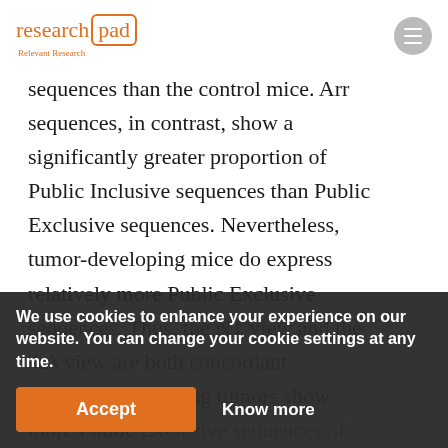research pad — Relevant Research
sequences than the control mice. Arr sequences, in contrast, show a significantly greater proportion of Public Inclusive sequences than Public Exclusive sequences. Nevertheless, tumor-developing mice do express relatively more Public Exclusive sequences. Thus, the NT view and the AA view are both concordant and mice developing tumors show more Public Exclusive sequences of both NT and AA types.
We use cookies to enhance your experience on our website. You can change your cookie settings at any time.
Accept   Know more